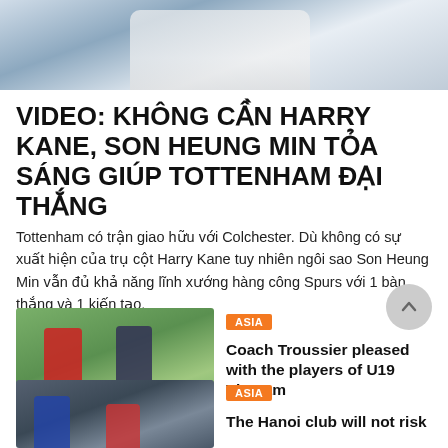[Figure (photo): Soccer/football players in white shirts, cropped top photo]
VIDEO: KHÔNG CẦN HARRY KANE, SON HEUNG MIN TỎA SÁNG GIÚP TOTTENHAM ĐẠI THẮNG
Tottenham có trận giao hữu với Colchester. Dù không có sự xuất hiện của trụ cột Harry Kane tuy nhiên ngôi sao Son Heung Min vẫn đủ khả năng lĩnh xướng hàng công Spurs với 1 bàn thắng và 1 kiến tạo.
[Figure (photo): Two soccer players competing on green pitch, one in red, one in dark blue]
ASIA
Coach Troussier pleased with the players of U19 Vietnam
[Figure (photo): Soccer player in dark kit on dark background]
ASIA
The Hanoi club will not risk